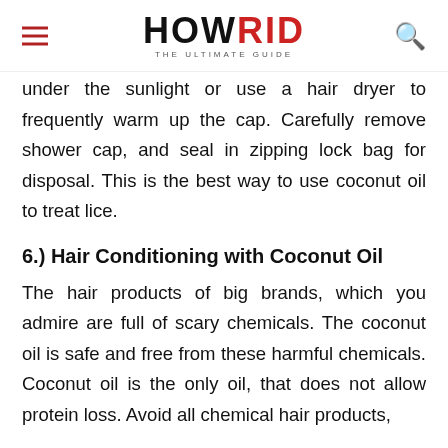HOWRID THE ULTIMATE GUIDE
under the sunlight or use a hair dryer to frequently warm up the cap. Carefully remove shower cap, and seal in zipping lock bag for disposal. This is the best way to use coconut oil to treat lice.
6.) Hair Conditioning with Coconut Oil
The hair products of big brands, which you admire are full of scary chemicals. The coconut oil is safe and free from these harmful chemicals. Coconut oil is the only oil, that does not allow protein loss. Avoid all chemical hair products, particularly children, to condition their hair, it is